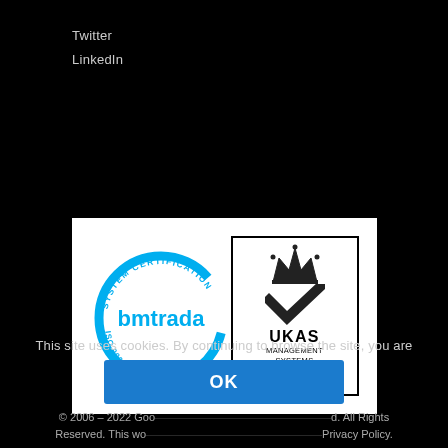Twitter
LinkedIn
[Figure (logo): BM TRADA System Certification ISO 9001 Certification logo alongside UKAS Management Systems 012 logo on white background]
This site uses cookies. By continuing to browse the site, you are agreeing to our use of cookies.
OK
© 2006 – 2022 Goo... All Rights Reserved. This wo... Privacy Policy.